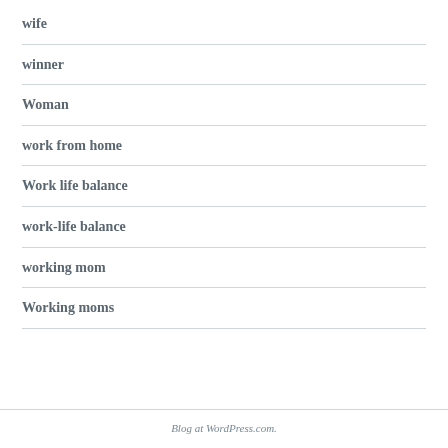wife
winner
Woman
work from home
Work life balance
work-life balance
working mom
Working moms
Blog at WordPress.com.